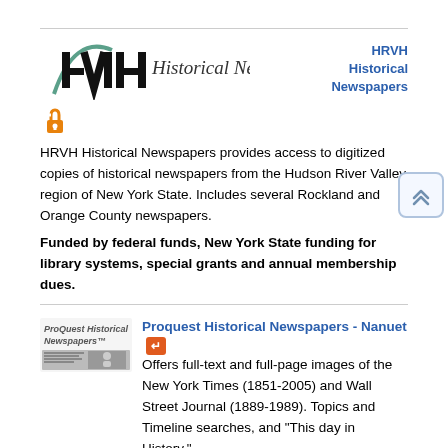[Figure (logo): HRVH Historical Newspapers logo with stylized H-R-V-H letters and handwritten 'Historical Newspapers' text]
HRVH Historical Newspapers
[Figure (logo): Open access orange lock icon]
HRVH Historical Newspapers provides access to digitized copies of historical newspapers from the Hudson River Valley region of New York State. Includes several Rockland and Orange County newspapers.
Funded by federal funds, New York State funding for library systems, special grants and annual membership dues.
[Figure (logo): ProQuest Historical Newspapers logo with small newspaper image below]
Proquest Historical Newspapers - Nanuet
Offers full-text and full-page images of the New York Times (1851-2005) and Wall Street Journal (1889-1989). Topics and Timeline searches, and "This day in History."
IN LIBRARY USE ONLY
Funded by the Nanuet Library